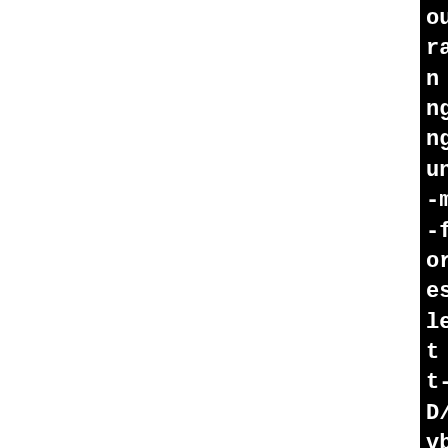ount -mfentry -DCC_USING_r
ration-after-statement -Wn
n -Wno-stringop-truncation
ngth-bounds -Wno-array-bou
ngop-overflow -Wno-restric
uninitialized -fno-strict-
-merge-all-constants -fme
-fno-stack-check -fconserv
or=implicit-int -Werror=st
es -Werror=date-time -Werr
le-pointer-types -Werror=d
t -fmacro-prefix-map=./= 
t-aligned -include /tmp/B
D/VirtualBox-6.1.34/kernel
vboxdrv/include/VBox/SUPDr
fno-omit-frame-pointer -fr
claration-after-statement
nux-4.19/include -I/tmp/B.
D/VirtualBox-6.1.34/kernel
vboxdrv/ -I/tmp/B.bahlhtg_
lBox-6.1.34/kernel/HostDri
include -I/tmp/B.bahlhtg_
Box-6.1.34/kernel/HostDriv
@drv/linux -D_KERNEL_